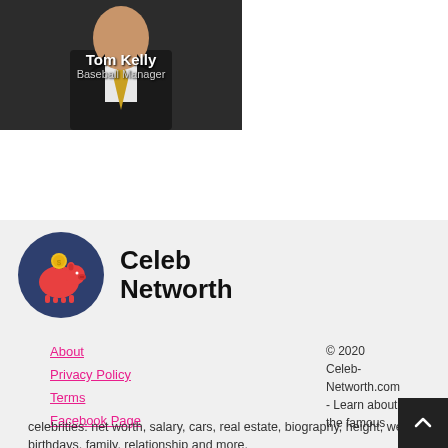[Figure (photo): Photo of Tom Kelly, Baseball Manager, shown in dark suit with gold tie, white shirt. Name and title overlaid in white text.]
[Figure (logo): Celeb Networth logo: dark circle with red piggy bank and gold coin icon, next to bold text 'Celeb Networth']
About
Privacy Policy
Terms
Facebook Page
© 2020 Celeb-Networth.com - Learn about the famous celebrities: net worth, salary, cars, real estate, biography, height, weight, birthdays, family, relationship and more.